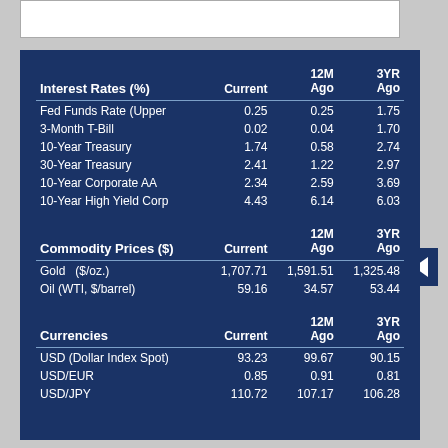| Interest Rates (%) | Current | 12M Ago | 3YR Ago |
| --- | --- | --- | --- |
| Fed Funds Rate (Upper | 0.25 | 0.25 | 1.75 |
| 3-Month T-Bill | 0.02 | 0.04 | 1.70 |
| 10-Year Treasury | 1.74 | 0.58 | 2.74 |
| 30-Year Treasury | 2.41 | 1.22 | 2.97 |
| 10-Year Corporate AA | 2.34 | 2.59 | 3.69 |
| 10-Year High Yield Corp | 4.43 | 6.14 | 6.03 |
| Commodity Prices ($) | Current | 12M Ago | 3YR Ago |
| --- | --- | --- | --- |
| Gold   ($/oz.) | 1,707.71 | 1,591.51 | 1,325.48 |
| Oil (WTI, $/barrel) | 59.16 | 34.57 | 53.44 |
| Currencies | Current | 12M Ago | 3YR Ago |
| --- | --- | --- | --- |
| USD (Dollar Index Spot) | 93.23 | 99.67 | 90.15 |
| USD/EUR | 0.85 | 0.91 | 0.81 |
| USD/JPY | 110.72 | 107.17 | 106.28 |